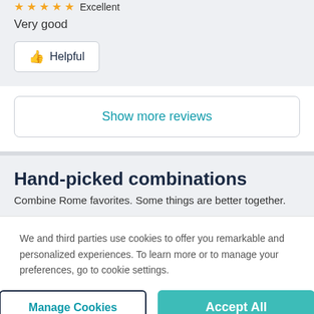★★★★★ Excellent
Very good
👍 Helpful
Show more reviews
Hand-picked combinations
Combine Rome favorites. Some things are better together.
We and third parties use cookies to offer you remarkable and personalized experiences. To learn more or to manage your preferences, go to cookie settings.
Manage Cookies
Accept All